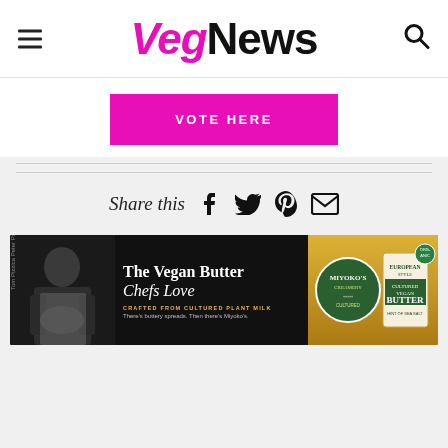VegNews
VOTE HERE
Share this
[Figure (screenshot): Advertisement banner for Miyoko's Creamery Vegan Butter. Dark background with a chef holding a bowl on the left, center text reads 'The Vegan Butter Chefs Love / CRAFTED FROM CULTURED PLANT MILK / There's buttery spreads. Then there's Miyoko's.' Right side shows golden packaging with Miyoko's logo and 'European Style Cultured Vegan Butter' text.]